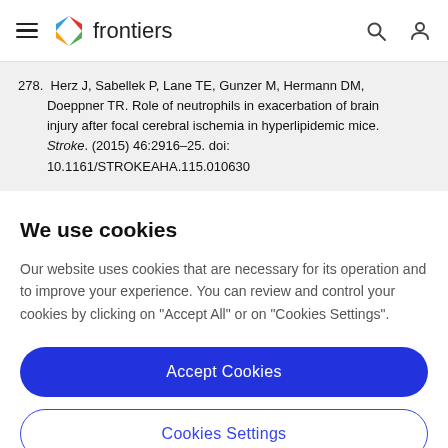frontiers
278. Herz J, Sabellek P, Lane TE, Gunzer M, Hermann DM, Doeppner TR. Role of neutrophils in exacerbation of brain injury after focal cerebral ischemia in hyperlipidemic mice. Stroke. (2015) 46:2916–25. doi: 10.1161/STROKEAHA.115.010630
We use cookies
Our website uses cookies that are necessary for its operation and to improve your experience. You can review and control your cookies by clicking on "Accept All" or on "Cookies Settings".
Accept Cookies
Cookies Settings